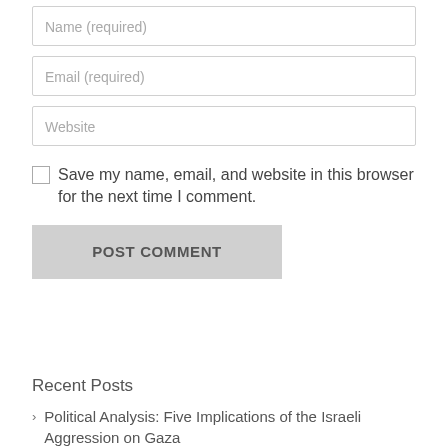Name (required)
Email (required)
Website
Save my name, email, and website in this browser for the next time I comment.
POST COMMENT
Recent Posts
Political Analysis: Five Implications of the Israeli Aggression on Gaza